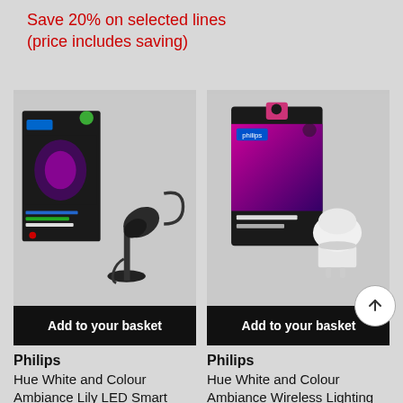Save 20% on selected lines (price includes saving)
[Figure (photo): Philips Hue White and Colour Ambiance Lily LED Smart outdoor spotlight with box packaging, showing black spotlight unit and mounting stake]
Add to your basket
Philips
Hue White and Colour Ambiance Lily LED Smart
[Figure (photo): Philips Hue White and Colour Ambiance Wireless Lighting GU10 smart bulb with purple/pink gradient box packaging]
Add to your basket
Philips
Hue White and Colour Ambiance Wireless Lighting